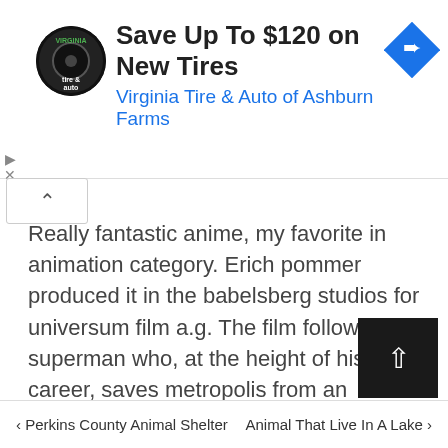[Figure (other): Advertisement banner: Virginia Tire & Auto logo (circular black badge with tire icon), headline 'Save Up To $120 on New Tires', subline 'Virginia Tire & Auto of Ashburn Farms', blue navigation arrow icon on right]
Really fantastic anime, my favorite in animation category. Erich pommer produced it in the babelsberg studios for universum film a.g. The film follows superman who, at the height of his career, saves metropolis from an invulnerable space creature named doomsday, perishing in the act.
‹ Perkins County Animal Shelter    Animal That Live In A Lake ›